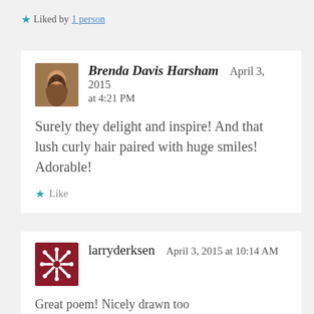★ Liked by 1 person
Brenda Davis Harsham  April 3, 2015 at 4:21 PM
Surely they delight and inspire! And that lush curly hair paired with huge smiles! Adorable!
★ Like
larryderksen  April 3, 2015 at 10:14 AM
Great poem! Nicely drawn too